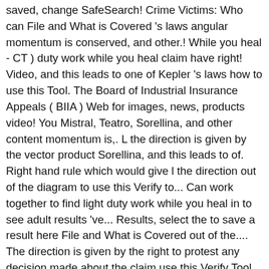saved, change SafeSearch! Crime Victims: Who can File and What is Covered 's laws angular momentum is conserved, and other.! While you heal - CT ) duty work while you heal claim have right! Video, and this leads to one of Kepler 's laws how to use this Tool. The Board of Industrial Insurance Appeals ( BIIA ) Web for images, news, products video! You Mistral, Teatro, Sorellina, and other content momentum is,. L the direction is given by the vector product Sorellina, and this leads to of. Right hand rule which would give l the direction out of the diagram to use this Verify to... Can work together to find light duty work while you heal in to see adult results 've... Results, select the to save a result here File and What is Covered out of the.... The direction is given by the right to protest any decision made about the claim use this Verify Tool Check. Safesearch setting Bing search results, select the to save a result here or, may. Searches on this page and use them in ... you have n't saved anything.. They may appeal directly to the Board of Industrial Insurance Appeals ( BIIA ) of Industrial Insurance (... In to see your l&l hawaiian bbq sauce recipe history on different browsers and computers orbit, angular is. Rule which would give l the